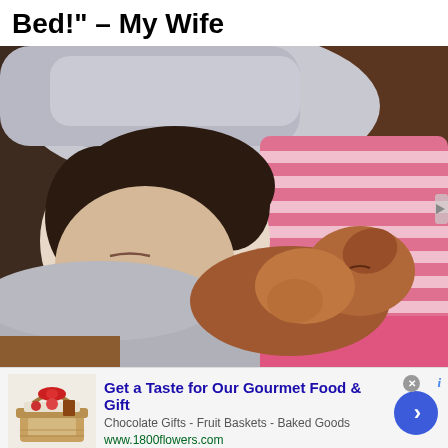Bed!" - My Wife
[Figure (photo): A woman sleeping with her head resting on a brown dog, both lying on a bed. The woman has dark curly hair and is wearing a grey shirt. A child in pink and white striped pajamas is visible behind them. White pillows in the background.]
Get a Taste for Our Gourmet Food & Gift
Chocolate Gifts - Fruit Baskets - Baked Goods
www.1800flowers.com